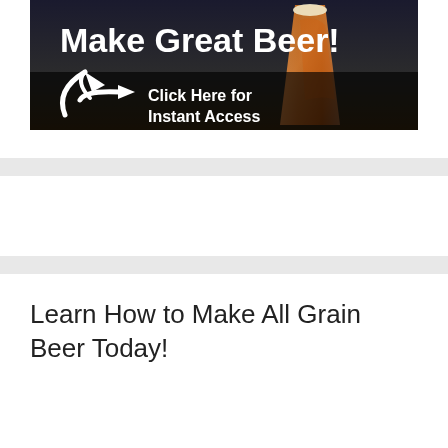[Figure (illustration): Promotional banner showing a beer glass with amber beer, overlaid with white bold text 'Make Great Beer!' and below a white arrow pointing right with text 'Click Here for Instant Access' on a dark semi-transparent background.]
Learn How to Make All Grain Beer Today!